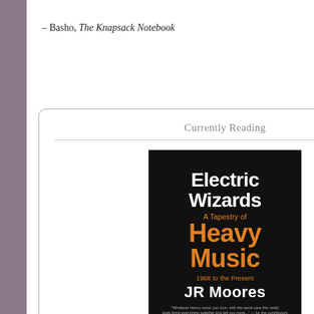– Basho, The Knapsack Notebook
Currently Reading
[Figure (photo): Book cover of Electric Wizards: A Tapestry of Heavy Music, 1968 to the Present by JR Moores. Black background with white bold text for 'Electric Wizards' and orange text for 'A Tapestry of Heavy Music 1968 to the Present JR Moores'.]
Electric Wizards: A Tapestry of Heavy Music, 1968 to the Present
by J.R. Moores
[Figure (photo): Portrait painting of a person, partially visible, showing face and upper body with period clothing, brown tones.]